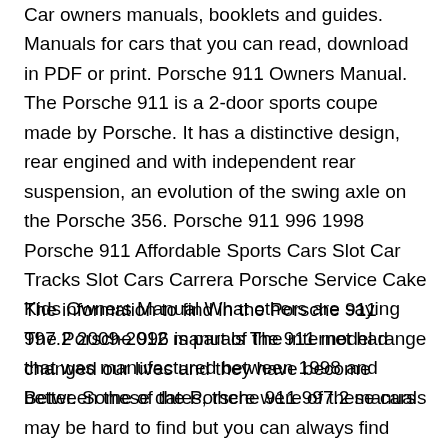Car owners manuals, booklets and guides. Manuals for cars that you can read, download in PDF or print. Porsche 911 Owners Manual. The Porsche 911 is a 2-door sports coupe made by Porsche. It has a distinctive design, rear engined and with independent rear suspension, an evolution of the swing axle on the Porsche 356. Porsche 911 996 1998 Porsche 911 Affordable Sports Cars Slot Car Tracks Slot Cars Carrera Porsche Service Cake Kids Owners Manual What others are saying The Porsche 996 is part of the 911 model range that was manufactured between 1998 and Between these dates, there were of these cars
The information to find in the Porsche 911 997.2 2009-2012 manuals The internet had changed our lives and they have become better. Some of the Porsche 911 997.2 manuals may be hard to find but you can always find them online. Edmunds' expert review of the Used 2009 Porsche 911 provides the